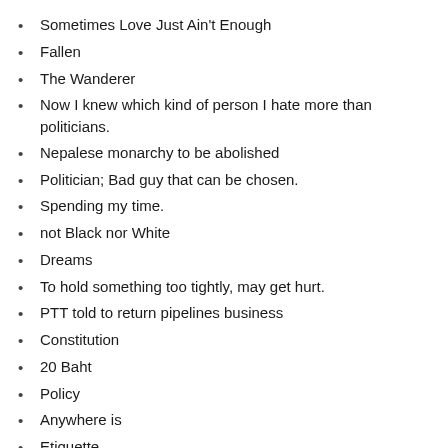Sometimes Love Just Ain't Enough
Fallen
The Wanderer
Now I knew which kind of person I hate more than politicians.
Nepalese monarchy to be abolished
Politician; Bad guy that can be chosen.
Spending my time.
not Black nor White
Dreams
To hold something too tightly, may get hurt.
PTT told to return pipelines business
Constitution
20 Baht
Policy
Anywhere is
Etiquette
Everything you want